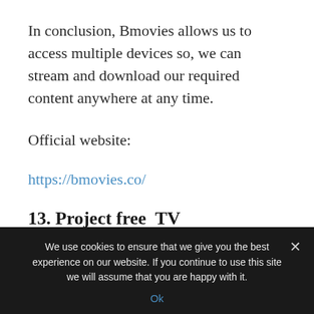In conclusion, Bmovies allows us to access multiple devices so, we can stream and download our required content anywhere at any time.
Official website:
https://bmovies.co/
13. Project free  TV
Project free TV is an authorized movie streaming site
We use cookies to ensure that we give you the best experience on our website. If you continue to use this site we will assume that you are happy with it.
Ok